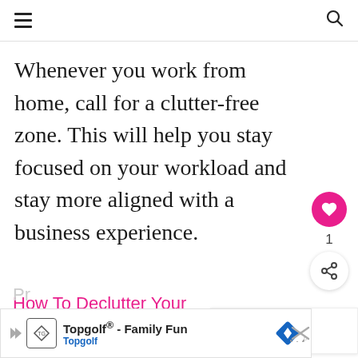Navigation header with hamburger menu and search icon
Whenever you work from home, call for a clutter-free zone. This will help you stay focused on your workload and stay more aligned with a business experience.
How To Declutter Your Home + Free Printable To Get You Started Tod
WHAT'S NEXT → Pregnancy & Parenthood ...
Topgolf® - Family Fun Topgolf